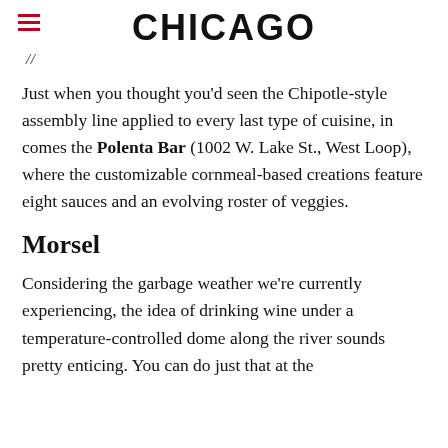CHICAGO
// ...
Just when you thought you'd seen the Chipotle-style assembly line applied to every last type of cuisine, in comes the Polenta Bar (1002 W. Lake St., West Loop), where the customizable cornmeal-based creations feature eight sauces and an evolving roster of veggies.
Morsel
Considering the garbage weather we're currently experiencing, the idea of drinking wine under a temperature-controlled dome along the river sounds pretty enticing. You can do just that at the